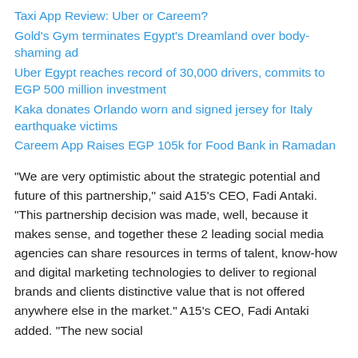Taxi App Review: Uber or Careem?
Gold's Gym terminates Egypt's Dreamland over body-shaming ad
Uber Egypt reaches record of 30,000 drivers, commits to EGP 500 million investment
Kaka donates Orlando worn and signed jersey for Italy earthquake victims
Careem App Raises EGP 105k for Food Bank in Ramadan
“We are very optimistic about the strategic potential and future of this partnership,” said A15’s CEO, Fadi Antaki. “This partnership decision was made, well, because it makes sense, and together these 2 leading social media agencies can share resources in terms of talent, know-how and digital marketing technologies to deliver to regional brands and clients distinctive value that is not offered anywhere else in the market.” A15’s CEO, Fadi Antaki added. “The new social